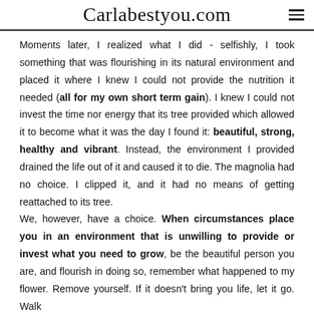Carlabestyou.com
Moments later, I realized what I did - selfishly, I took something that was flourishing in its natural environment and placed it where I knew I could not provide the nutrition it needed (all for my own short term gain). I knew I could not invest the time nor energy that its tree provided which allowed it to become what it was the day I found it: beautiful, strong, healthy and vibrant. Instead, the environment I provided drained the life out of it and caused it to die. The magnolia had no choice. I clipped it, and it had no means of getting reattached to its tree. We, however, have a choice. When circumstances place you in an environment that is unwilling to provide or invest what you need to grow, be the beautiful person you are, and flourish in doing so, remember what happened to my flower. Remove yourself. If it doesn't bring you life, let it go. Walk